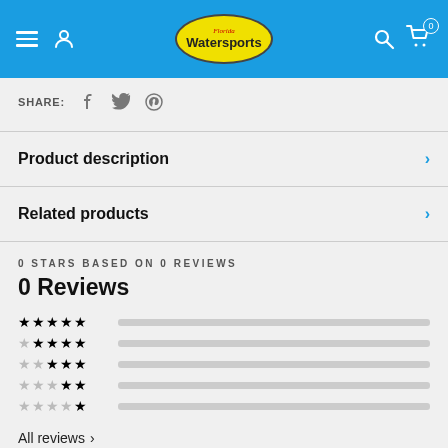Florida Watersports — navigation header
SHARE:
Product description
Related products
0 STARS BASED ON 0 REVIEWS
0 Reviews
Star rating bars (5-star, 4-star, 3-star, 2-star, 1-star) all with empty bars
All reviews >